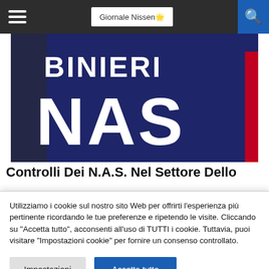Giornale Nissen
[Figure (photo): Close-up photo of a dark navy blue jacket/vest with white text 'CARABINIERI NAS' printed on it, with a red stripe on the right side.]
Controlli Dei N.A.S. Nel Settore Dello
Utilizziamo i cookie sul nostro sito Web per offrirti l'esperienza più pertinente ricordando le tue preferenze e ripetendo le visite. Cliccando su "Accetta tutto", acconsenti all'uso di TUTTI i cookie. Tuttavia, puoi visitare "Impostazioni cookie" per fornire un consenso controllato.
Impostazioni | Accetta tutto